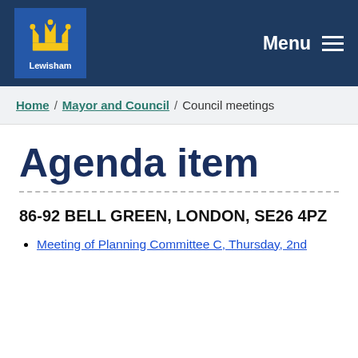Lewisham — Menu
Home / Mayor and Council / Council meetings
Agenda item
86-92 BELL GREEN, LONDON, SE26 4PZ
Meeting of Planning Committee C, Thursday, 2nd ...